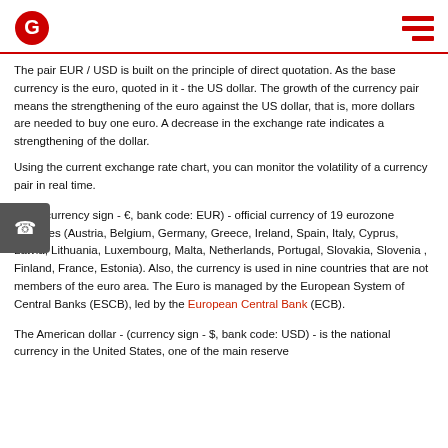The pair EUR / USD is built on the principle of direct quotation. As the base currency is the euro, quoted in it - the US dollar. The growth of the currency pair means the strengthening of the euro against the US dollar, that is, more dollars are needed to buy one euro. A decrease in the exchange rate indicates a strengthening of the dollar.
Using the current exchange rate chart, you can monitor the volatility of a currency pair in real time.
Euro (currency sign - €, bank code: EUR) - official currency of 19 eurozone countries (Austria, Belgium, Germany, Greece, Ireland, Spain, Italy, Cyprus, Latvia, Lithuania, Luxembourg, Malta, Netherlands, Portugal, Slovakia, Slovenia , Finland, France, Estonia). Also, the currency is used in nine countries that are not members of the euro area. The Euro is managed by the European System of Central Banks (ESCB), led by the European Central Bank (ECB).
The American dollar - (currency sign - $, bank code: USD) - is the national currency in the United States, one of the main reserve